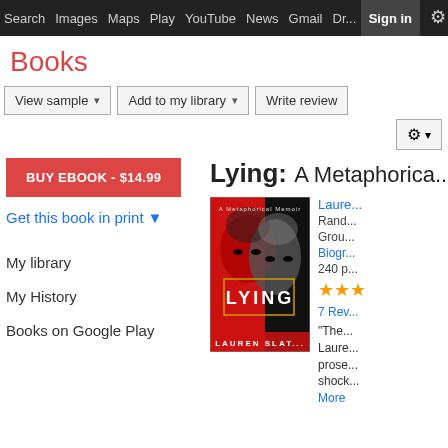Search  Images  Maps  Play  YouTube  News  Gmail  Dr...  More  Sign in  [settings]
Books
View sample ▾   Add to my library ▾   Write review
BUY EBOOK - $14.99
Get this book in print ▼
My library
My History
Books on Google Play
Lying: A Metaphorica...
[Figure (photo): Book cover of Lying: A Metaphorical Memoir by Lauren Slater, showing a woman's face split between red and black-and-white halves with the title LYING in large white letters and author name LAUREN SLATER at the bottom]
Laure...
Rand...
Grou...
Biogr...
240 p...
★★★...
7 Rev...
"The...
Laure...
prose...
shock...
More